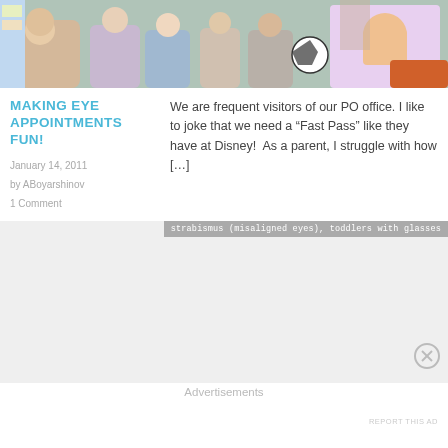[Figure (photo): Photo of dolls and stuffed animals with a Dora the Explorer pillow/blanket, person visible in background]
MAKING EYE APPOINTMENTS FUN!
January 14, 2011
by ABoyarshinov
1 Comment
We are frequent visitors of our PO office. I like to joke that we need a “Fast Pass” like they have at Disney!  As a parent, I struggle with how […]
strabismus (misaligned eyes), toddlers with glasses
Advertisements